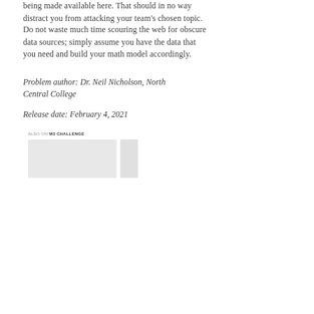being made available here. That should in no way distract you from attacking your team's chosen topic. Do not waste much time scouring the web for obscure data sources; simply assume you have the data that you need and build your math model accordingly.
Problem author: Dr. Neil Nicholson, North Central College
Release date: February 4, 2021
ALSO ON M3 CHALLENGE
[Figure (photo): Two partially visible article/content cards, shown as light gray rectangles, part of a 'Also on M3 Challenge' related content section]